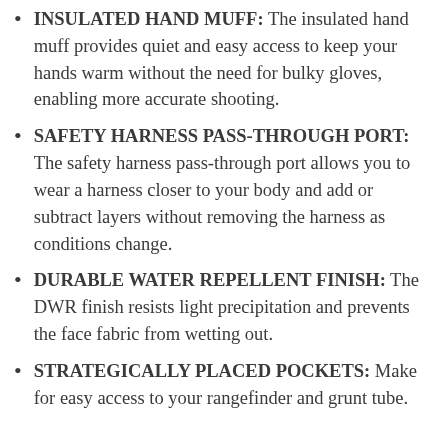INSULATED HAND MUFF: The insulated hand muff provides quiet and easy access to keep your hands warm without the need for bulky gloves, enabling more accurate shooting.
SAFETY HARNESS PASS-THROUGH PORT: The safety harness pass-through port allows you to wear a harness closer to your body and add or subtract layers without removing the harness as conditions change.
DURABLE WATER REPELLENT FINISH: The DWR finish resists light precipitation and prevents the face fabric from wetting out.
STRATEGICALLY PLACED POCKETS: Make for easy access to your rangefinder and grunt tube.